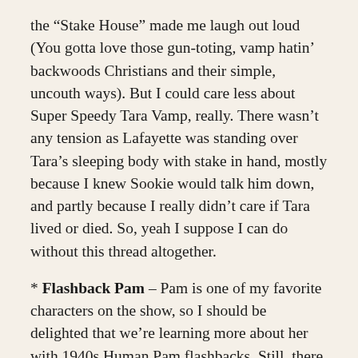the “Stake House” made me laugh out loud (You gotta love those gun-toting, vamp hatin’ backwoods Christians and their simple, uncouth ways). But I could care less about Super Speedy Tara Vamp, really. There wasn’t any tension as Lafayette was standing over Tara’s sleeping body with stake in hand, mostly because I knew Sookie would talk him down, and partly because I really didn’t care if Tara lived or died. So, yeah I suppose I can do without this thread altogether.
* Flashback Pam – Pam is one of my favorite characters on the show, so I should be delighted that we’re learning more about her with 1940s Human Pam flashbacks. Still, there isn’t anything interesting